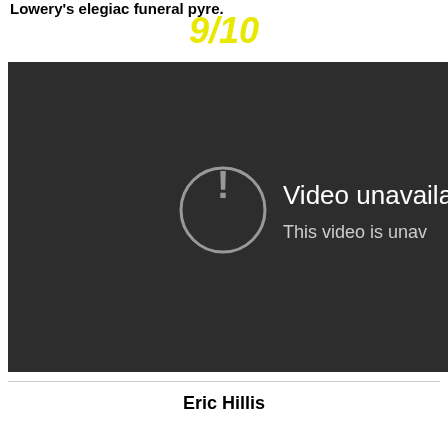Lowery's elegiac funeral pyre.
9/10
[Figure (screenshot): Embedded video player showing 'Video unavailable' error message with exclamation mark icon in a circle and text 'This video is unav...' on a dark background.]
Eric Hillis